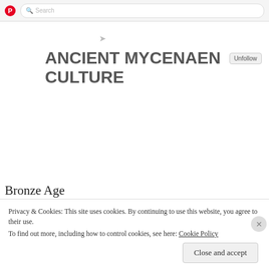[Figure (screenshot): Pinterest browser UI top bar with logo and search bar]
ANCIENT MYCENAEN CULTURE
Bronze Age
[Figure (screenshot): Second Pinterest browser window showing Bronze Age board title]
Privacy & Cookies: This site uses cookies. By continuing to use this website, you agree to their use.
To find out more, including how to control cookies, see here: Cookie Policy
Close and accept